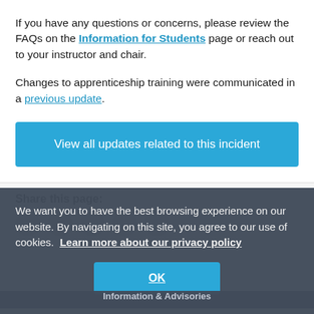If you have any questions or concerns, please review the FAQs on the Information for Students page or reach out to your instructor and chair.
Changes to apprenticeship training were communicated in a previous update.
View all updates related to this incident
Share this page:
We want you to have the best browsing experience on our website. By navigating on this site, you agree to our use of cookies. Learn more about our privacy policy
OK
Information & Advisories